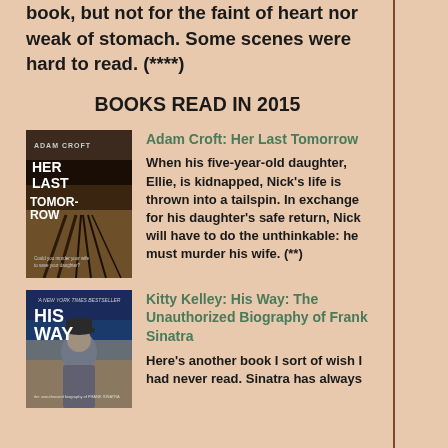book, but not for the faint of heart nor weak of stomach. Some scenes were hard to read. (****)
BOOKS READ IN 2015
[Figure (photo): Book cover of Adam Croft: Her Last Tomorrow, showing a road/path receding into distance]
Adam Croft: Her Last Tomorrow
When his five-year-old daughter, Ellie, is kidnapped, Nick's life is thrown into a tailspin. In exchange for his daughter's safe return, Nick will have to do the unthinkable: he must murder his wife. (**)
[Figure (photo): Book cover of Kitty Kelley: His Way: The Unauthorized Biography of Frank Sinatra, showing Frank Sinatra in a suit]
Kitty Kelley: His Way: The Unauthorized Biography of Frank Sinatra
Here's another book I sort of wish I had never read. Sinatra has always